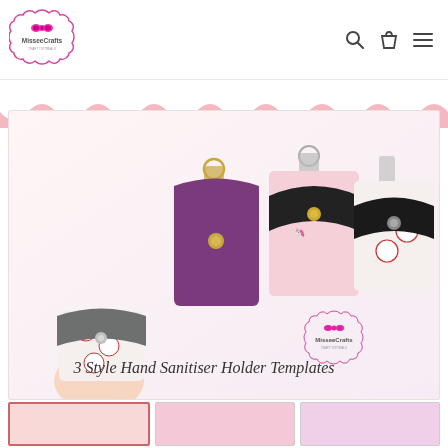[Figure (logo): MisseeCrafts logo: scalloped circular border with pink bow and brand name text]
[Figure (illustration): Navigation icons: search magnifier, shopping bag, and hamburger menu]
[Figure (photo): Pink scalloped banner decoration at top of product section]
[Figure (photo): Product photo: 4 hand sanitizer holder pouches with keychains in various fabrics (gray leather with baseball, purple scalloped, pink unicorn, black leather with baseball). Text overlay reads '3 Style Hand Sanitiser Holder Templates' with MisseeCrafts logo watermark.]
[Figure (photo): Thumbnail row: three small product image thumbnails at bottom of page]